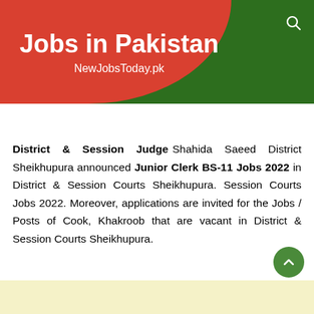Jobs in Pakistan
NewJobsToday.pk
District & Session Judge Shahida Saeed District Sheikhupura announced Junior Clerk BS-11 Jobs 2022 in District & Session Courts Sheikhupura. Session Courts Jobs 2022. Moreover, applications are invited for the Jobs / Posts of Cook, Khakroob that are vacant in District & Session Courts Sheikhupura.